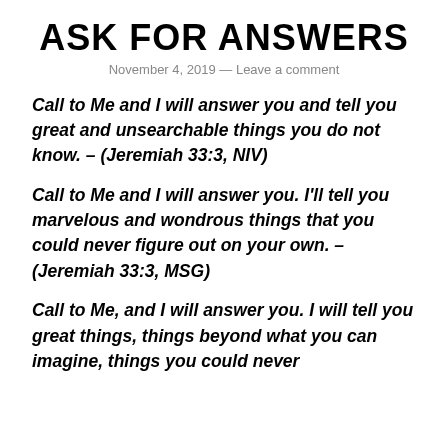ASK FOR ANSWERS
November 4, 2019 — Leave a comment
Call to Me and I will answer you and tell you great and unsearchable things you do not know. – (Jeremiah 33:3, NIV)
Call to Me and I will answer you. I'll tell you marvelous and wondrous things that you could never figure out on your own. – (Jeremiah 33:3, MSG)
Call to Me, and I will answer you. I will tell you great things, things beyond what you can imagine, things you could never